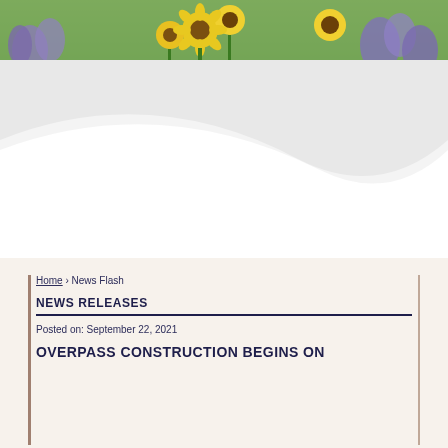[Figure (photo): A banner photo of wildflowers including yellow sunflowers and purple flowers with green grass, serving as a decorative hero image for a government website.]
Home › News Flash
NEWS RELEASES
Posted on: September 22, 2021
OVERPASS CONSTRUCTION BEGINS ON